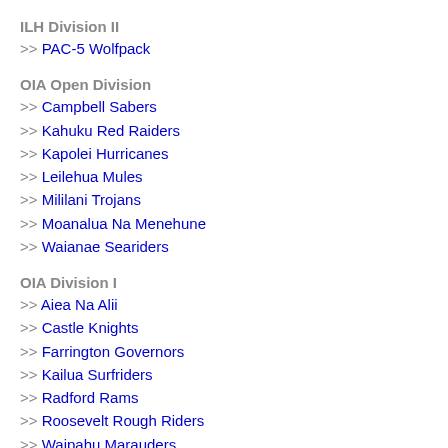ILH Division II
>> PAC-5 Wolfpack
OIA Open Division
>> Campbell Sabers
>> Kahuku Red Raiders
>> Kapolei Hurricanes
>> Leilehua Mules
>> Mililani Trojans
>> Moanalua Na Menehune
>> Waianae Seariders
OIA Division I
>> Aiea Na Alii
>> Castle Knights
>> Farrington Governors
>> Kailua Surfriders
>> Radford Rams
>> Roosevelt Rough Riders
>> Waipahu Marauders